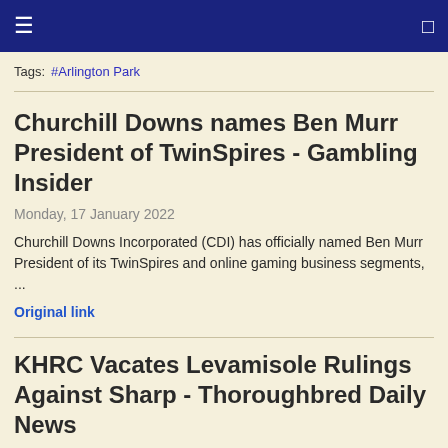≡  [nav icon]
Tags:  #Arlington Park
Churchill Downs names Ben Murr President of TwinSpires - Gambling Insider
Monday, 17 January 2022
Churchill Downs Incorporated (CDI) has officially named Ben Murr President of its TwinSpires and online gaming business segments, ...
Original link
KHRC Vacates Levamisole Rulings Against Sharp - Thoroughbred Daily News